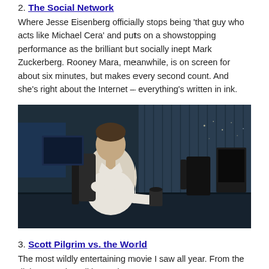2. The Social Network
Where Jesse Eisenberg officially stops being ‘that guy who acts like Michael Cera’ and puts on a showstopping performance as the brilliant but socially inept Mark Zuckerberg. Rooney Mara, meanwhile, is on screen for about six minutes, but makes every second count. And she’s right about the Internet – everything’s written in ink.
[Figure (photo): A young man in a white shirt sitting at a dark conference table, looking to the left. The background shows a dark room with vertical blinds and faint lights. A black jacket is draped over his chair and a coffee cup sits on the table. This is a still from The Social Network.]
3. Scott Pilgrim vs. the World
The most wildly entertaining movie I saw all year. From the dialogue to the editing to the...